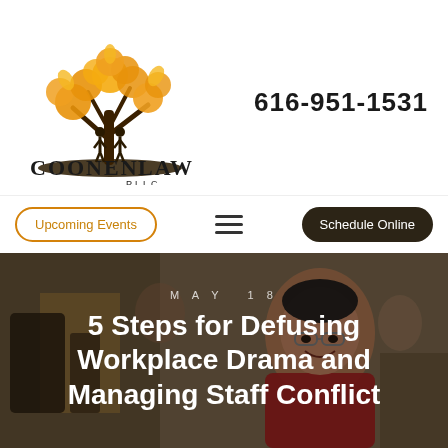[Figure (logo): Coonen Law PLLC logo with orange tree and two figures beneath it, company name in black serif letters]
616-951-1531
Upcoming Events
Schedule Online
[Figure (photo): Background photo of a smiling man in red shirt in an office environment, blurred background with colleagues]
MAY 18
5 Steps for Defusing Workplace Drama and Managing Staff Conflict